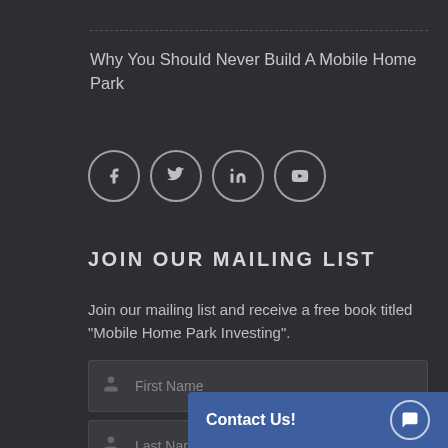Why You Should Never Build A Mobile Home Park
[Figure (other): Social media icons: Facebook, Twitter, LinkedIn, YouTube — each in a circle outline]
JOIN OUR MAILING LIST
Join our mailing list and receive a free book titled "Mobile Home Park Investing".
First Name (form field)
Last Name (form field)
Email Address (form field)
Contact Us!